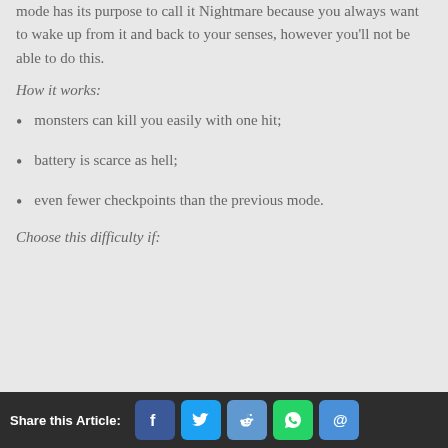mode has its purpose to call it Nightmare because you always want to wake up from it and back to your senses, however you'll not be able to do this.
How it works:
monsters can kill you easily with one hit;
battery is scarce as hell;
even fewer checkpoints than the previous mode.
Choose this difficulty if:
Share this Article: [Facebook] [Twitter] [Reddit] [WhatsApp] [Email]